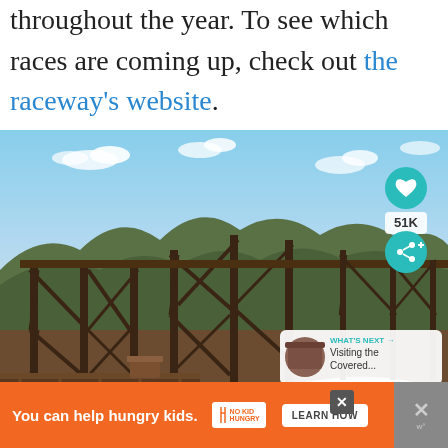throughout the year. To see which races are coming up, check out the raceway's website.
[Figure (photo): Photograph of a large iron railroad trestle bridge spanning a forested gorge under a partly cloudy blue sky, with a wooden deck observation platform in the foreground. UI overlays include a teal heart button, 51K count, share button, and a 'What's Next' card showing 'Visiting the Covered...']
[Figure (infographic): Orange advertisement banner: 'You can help hungry kids.' with No Kid Hungry logo and 'LEARN HOW' button. Close buttons on right.]